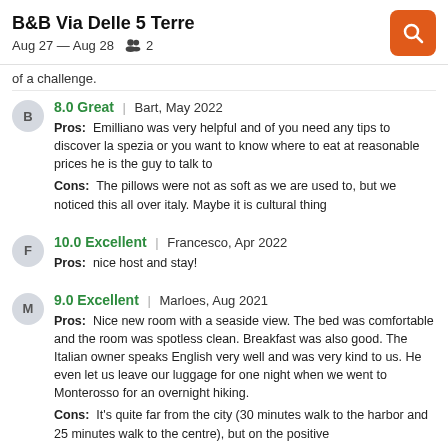B&B Via Delle 5 Terre
Aug 27 – Aug 28   2
of a challenge.
8.0 Great | Bart, May 2022
Pros: Emilliano was very helpful and of you need any tips to discover la spezia or you want to know where to eat at reasonable prices he is the guy to talk to
Cons: The pillows were not as soft as we are used to, but we noticed this all over italy. Maybe it is cultural thing
10.0 Excellent | Francesco, Apr 2022
Pros: nice host and stay!
9.0 Excellent | Marloes, Aug 2021
Pros: Nice new room with a seaside view. The bed was comfortable and the room was spotless clean. Breakfast was also good. The Italian owner speaks English very well and was very kind to us. He even let us leave our luggage for one night when we went to Monterosso for an overnight hiking.
Cons: It's quite far from the city (30 minutes walk to the harbor and 25 minutes walk to the centre), but on the positive